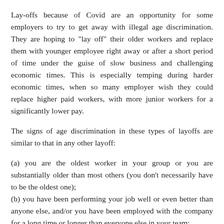Lay-offs because of Covid are an opportunity for some employers to try to get away with illegal age discrimination. They are hoping to "lay off" their older workers and replace them with younger employee right away or after a short period of time under the guise of slow business and challenging economic times. This is especially temping during harder economic times, when so many employer wish they could replace higher paid workers, with more junior workers for a significantly lower pay.
The signs of age discrimination in these types of layoffs are similar to that in any other layoff:
(a) you are the oldest worker in your group or you are substantially older than most others (you don't necessarily have to be the oldest one);
(b) you have been performing your job well or even better than anyone else, and/or you have been employed with the company for a long time or longer than everyone else in your team;
(c) you are the only one who has been selected for the lay-off, or the